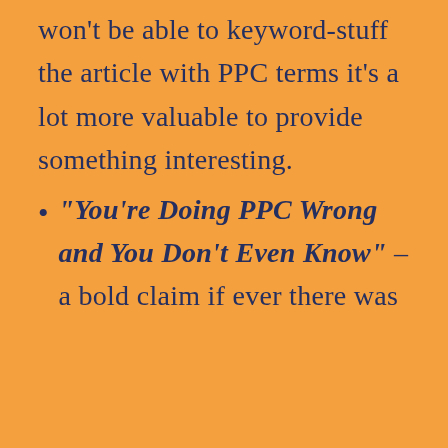won't be able to keyword-stuff the article with PPC terms it's a lot more valuable to provide something interesting.
“You’re Doing PPC Wrong and You Don’t Even Know” – a bold claim if ever there was